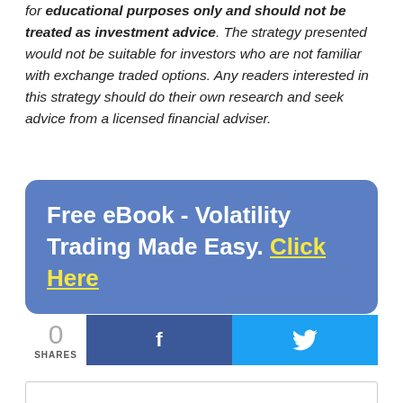for educational purposes only and should not be treated as investment advice. The strategy presented would not be suitable for investors who are not familiar with exchange traded options. Any readers interested in this strategy should do their own research and seek advice from a licensed financial adviser.
[Figure (infographic): Blue rounded rectangle banner reading: Free eBook - Volatility Trading Made Easy. Click Here (Click Here in yellow underlined text)]
[Figure (infographic): Social share section showing 0 SHARES count, a Facebook share button (dark blue with f logo), and a Twitter share button (light blue with bird logo)]